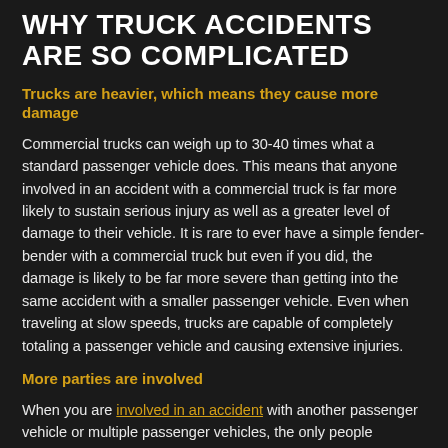WHY TRUCK ACCIDENTS ARE SO COMPLICATED
Trucks are heavier, which means they cause more damage
Commercial trucks can weigh up to 30-40 times what a standard passenger vehicle does. This means that anyone involved in an accident with a commercial truck is far more likely to sustain serious injury as well as a greater level of damage to their vehicle. It is rare to ever have a simple fender-bender with a commercial truck but even if you did, the damage is likely to be far more severe than getting into the same accident with a smaller passenger vehicle. Even when traveling at slow speeds, trucks are capable of completely totaling a passenger vehicle and causing extensive injuries.
More parties are involved
When you are involved in an accident with another passenger vehicle or multiple passenger vehicles, the only people involved in settling any claims are the drivers and various insurance companies. When you become involved in a truck accident, however, the number of involved parties increases. The majority